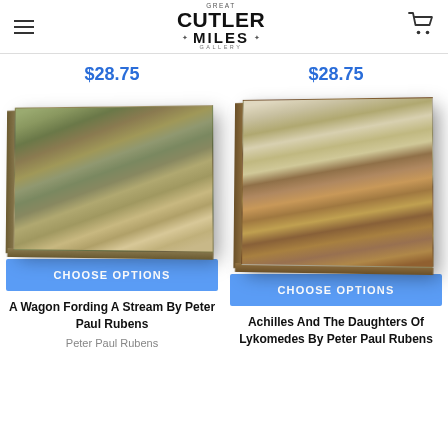Great Cutler Miles Gallery
$28.75
$28.75
[Figure (photo): Canvas print of a woodland landscape painting on a gallery-wrapped canvas, shown in perspective. A Wagon Fording A Stream By Peter Paul Rubens.]
[Figure (photo): Canvas print of a classical figurative painting on a gallery-wrapped canvas, shown in perspective. Achilles And The Daughters Of Lykomedes By Peter Paul Rubens.]
CHOOSE OPTIONS
CHOOSE OPTIONS
A Wagon Fording A Stream By Peter Paul Rubens
Achilles And The Daughters Of Lykomedes By Peter Paul Rubens
Peter Paul Rubens